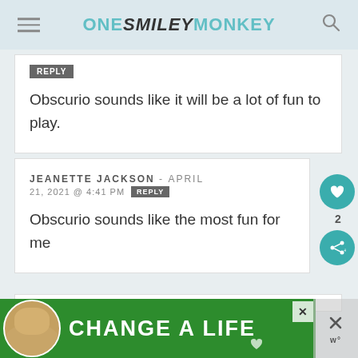ONE SMILEY MONKEY
REPLY
Obscurio sounds like it will be a lot of fun to play.
JEANETTE JACKSON - APRIL 21, 2021 @ 4:41 PM REPLY
Obscurio sounds like the most fun for me
[Figure (photo): Green advertisement banner with dog photo and text 'CHANGE A LIFE']